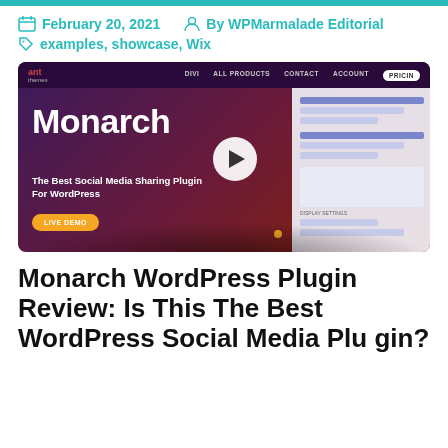February 20, 2021   By WPMarmalade Editorial
examples, showcase, Wix
[Figure (screenshot): Screenshot of the Monarch WordPress plugin website homepage showing the Monarch branding, navigation bar with DIVI, ALL PRODUCTS, CONTACT, ACCOUNT, PRICING links, the headline 'Monarch', subtitle 'The Best Social Media Sharing Plugin For WordPress', a LIVE DEMO button, and a play button circle. The design uses a dark purple-to-red gradient background.]
Monarch WordPress Plugin Review: Is This The Best WordPress Social Media Plugin?